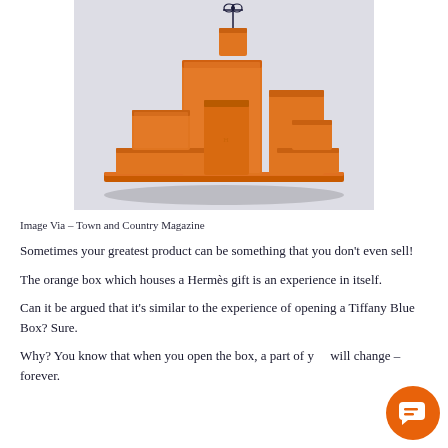[Figure (photo): Stack of Hermès orange gift boxes arranged in a pyramid-like composition against a light grey-white background, with one small box with a black ribbon at the top.]
Image Via – Town and Country Magazine
Sometimes your greatest product can be something that you don't even sell!
The orange box which houses a Hermès gift is an experience in itself.
Can it be argued that it's similar to the experience of opening a Tiffany Blue Box? Sure.
Why? You know that when you open the box, a part of you will change – forever.